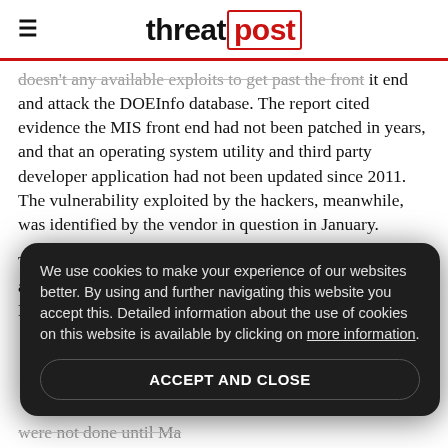threatpost
doesn't any available exploits to get past the front end and attack the DOEInfo database. The report cited evidence the MIS front end had not been patched in years, and that an operating system utility and third party developer application had not been updated since 2011. The vulnerability exploited by the hackers, meanwhile, was identified by the vendor in question in January.
The Office of the CIO, which is responsible for patching at the agency, said it purchased a software update for the MIS
We use cookies to make your experience of our websites better. By using and further navigating this website you accept this. Detailed information about the use of cookies on this website is available by clicking on more information. ACCEPT AND CLOSE
were not done until Ma